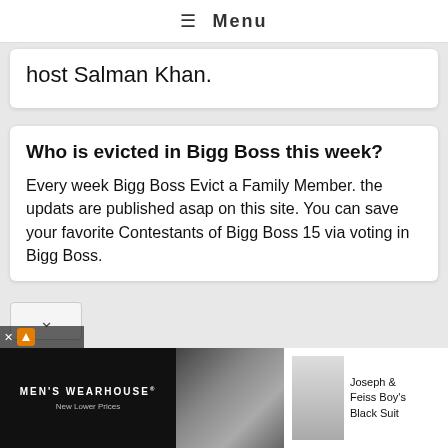≡ Menu
host Salman Khan.
Who is evicted in Bigg Boss this week?
Every week Bigg Boss Evict a Family Member. the updats are published asap on this site. You can save your favorite Contestants of Bigg Boss 15 via voting in Bigg Boss.
[Figure (photo): Advertisement banner for Men's Wearhouse featuring a couple in formal wear and Joseph & Feiss Boy's Black Suit on the right side]